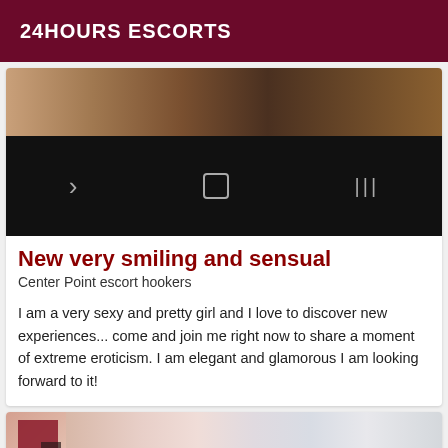24HOURS ESCORTS
[Figure (photo): Top portion of a listing photo showing a room interior with dark wooden surface, items in background, black navigation bar at bottom with back, home, and menu icons]
New very smiling and sensual
Center Point escort hookers
I am a very sexy and pretty girl and I love to discover new experiences... come and join me right now to share a moment of extreme eroticism. I am elegant and glamorous I am looking forward to it!
[Figure (photo): Bottom portion of a second listing showing a blonde woman, partially visible, with blurred/pixelated face area]